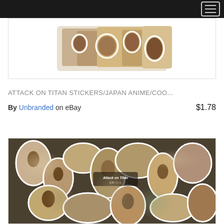Navigation menu
[Figure (photo): Attack on Titan anime character stickers collage showing action scenes with white borders, displayed in a product image box]
ATTACK ON TITAN STICKERS/JAPAN ANIME/COO...
By Unbranded on eBay  $1.78
[Figure (photo): Large photo of a pile of Attack on Titan anime stickers spread out, showing various characters including titans, soldiers, and the Attack on Titan logo text]